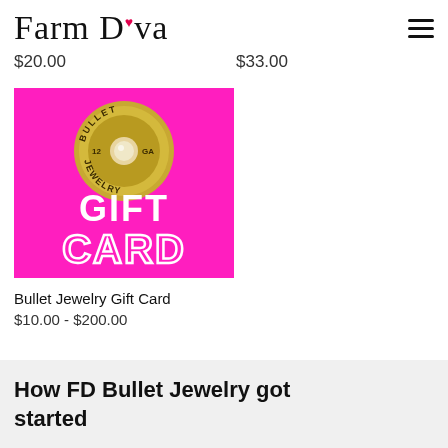Farm Diva
$20.00    $33.00
[Figure (photo): Bullet Jewelry Gift Card product image — bright pink background with gold shotgun shell cap logo reading 'BULLET JEWELRY 12 GA' and white bold text 'GIFT CARD']
Bullet Jewelry Gift Card
$10.00 - $200.00
How FD Bullet Jewelry got started